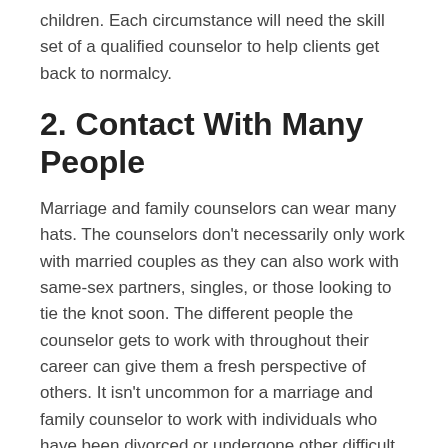children. Each circumstance will need the skill set of a qualified counselor to help clients get back to normalcy.
2. Contact With Many People
Marriage and family counselors can wear many hats. The counselors don't necessarily only work with married couples as they can also work with same-sex partners, singles, or those looking to tie the knot soon. The different people the counselor gets to work with throughout their career can give them a fresh perspective of others. It isn't uncommon for a marriage and family counselor to work with individuals who have been divorced or undergone other difficult circumstances.
3. Be Your Boss
Getting the necessary training for marriage and family counseling can open the doors to flexibility